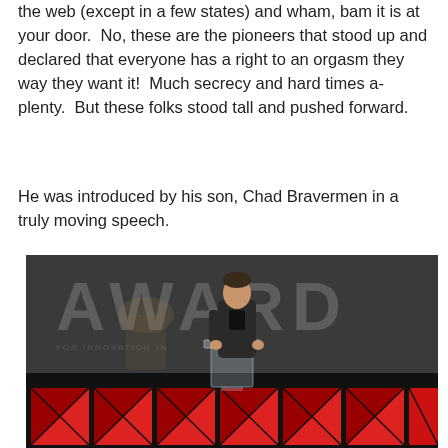the web (except in a few states) and wham, bam it is at your door.  No, these are the pioneers that stood up and declared that everyone has a right to an orgasm they way they want it!  Much secrecy and hard times a-plenty.  But these folks stood tall and pushed forward.
He was introduced by his son, Chad Bravermen in a truly moving speech.
[Figure (photo): A man in a dark suit standing at a clear podium on a stage, with a large screen behind showing 'AWARD' text, and red geometric panel decorations on the stage front.]